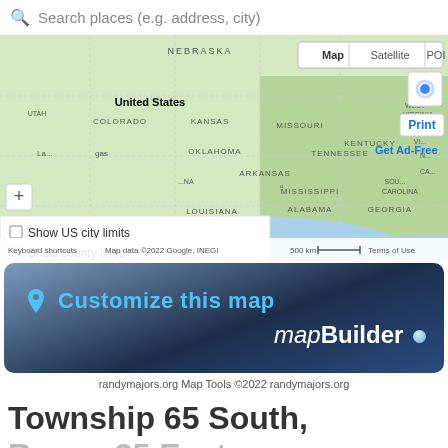Search places (e.g. address, city)
[Figure (map): Google Map showing the United States with state labels including Nebraska, Illinois, Utah, Colorado, Kansas, Missouri, Oklahoma, Tennessee, Arkansas, Mississippi, Alabama, Georgia, Louisiana, Kentucky, Virginia, West Virginia, South Carolina. Houston is labeled. Map controls show Map/Satellite/POI tabs, location dot, Print button, Get Ad-Free link, zoom + control. An overlay panel shows checkboxes: Show US city limits, Show county lines, Show Sec Twn Rng labels (red). Bottom bar shows: Keyboard shortcuts, Map data ©2022 Google, INEGI, 500 km scale, Terms of Use.]
[Figure (infographic): Dark navy/blue gradient banner with location pin icon and 'Customize this map' in light blue, and 'mapBuilder' brand with italic 'map' and bold 'Builder' in white, with a small blue sphere icon.]
randymajors.org Map Tools ©2022 randymajors.org
Township 65 South, Range 35 East